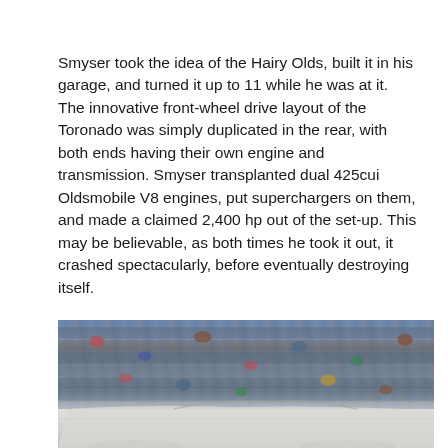Smyser took the idea of the Hairy Olds, built it in his garage, and turned it up to 11 while he was at it. The innovative front-wheel drive layout of the Toronado was simply duplicated in the rear, with both ends having their own engine and transmission. Smyser transplanted dual 425cui Oldsmobile V8 engines, put superchargers on them, and made a claimed 2,400 hp out of the set-up. This may be believable, as both times he took it out, it crashed spectacularly, before eventually destroying itself.
[Figure (photo): Crowd of spectators in stadium bleachers watching a white racing car (appears to be a drag racing event), with the car visible in the lower portion of the image and a large crowd filling the bleachers behind it.]